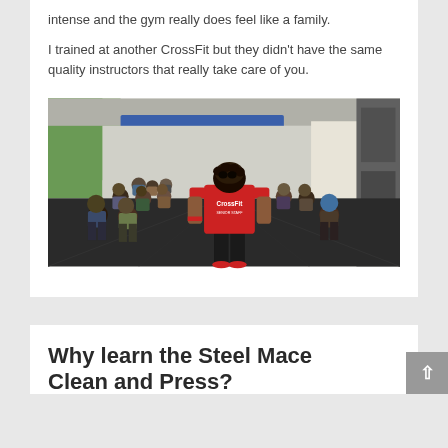intense and the gym really does feel like a family.
I trained at another CrossFit but they didn't have the same quality instructors that really take care of you.
[Figure (photo): A CrossFit instructor in a red CrossFit Senior Staff shirt viewed from behind, overseeing a large class of athletes doing squats while holding medicine balls in a gym.]
Why learn the Steel Mace Clean and Press?